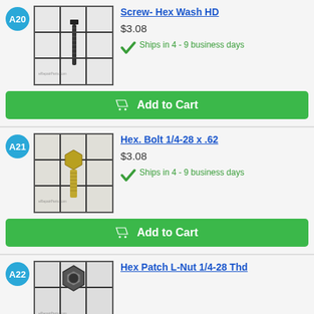[Figure (photo): Hex wash head screw, dark metal, on grid background, item A20]
Screw- Hex Wash HD
$3.08
Ships in 4 - 9 business days
[Figure (photo): Hex bolt 1/4-28 x .62, gold/yellow zinc plated, on grid background, item A21]
Hex. Bolt 1/4-28 x .62
$3.08
Ships in 4 - 9 business days
[Figure (photo): Hex patch lock nut 1/4-28, dark metal, on grid background, item A22]
Hex Patch L-Nut 1/4-28 Thd